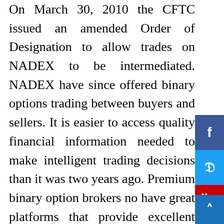On March 30, 2010 the CFTC issued an amended Order of Designation to allow trades on NADEX to be intermediated. NADEX have since offered binary options trading between buyers and sellers. It is easier to access quality financial information needed to make intelligent trading decisions than it was two years ago. Premium binary option brokers now have great platforms that provide excellent data for comprehensive technical analysis on the assets you are trading, helping you to make better trades. We now have binary options robots as well, which purport to automate winning trades for users. Unfortunately, many of these bots are scams, which is why you would be better off avoiding them altogether.